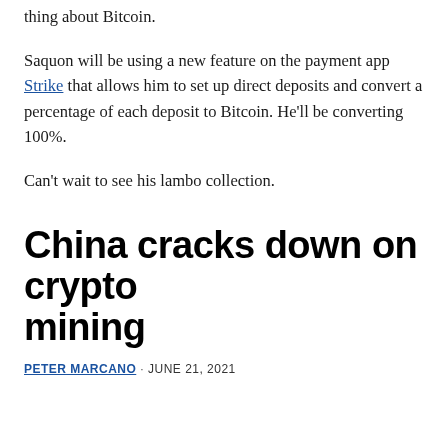thing about Bitcoin.
Saquon will be using a new feature on the payment app Strike that allows him to set up direct deposits and convert a percentage of each deposit to Bitcoin. He'll be converting 100%.
Can't wait to see his lambo collection.
China cracks down on crypto mining
PETER MARCANO · JUNE 21, 2021